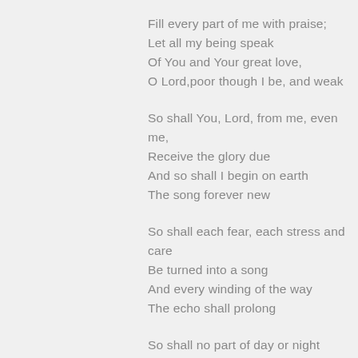Fill every part of me with praise;
Let all my being speak
Of You and Your great love,
O Lord,poor though I be, and weak
So shall You, Lord, from me, even me,
Receive the glory due
And so shall I begin on earth
The song forever new
So shall each fear, each stress and care
Be turned into a song
And every winding of the way
The echo shall prolong
So shall no part of day or night
From sacredness be free